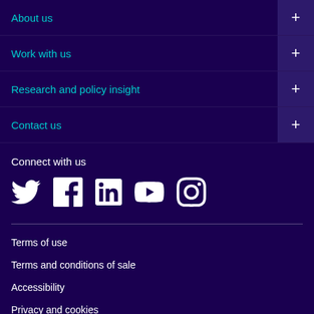About us
Work with us
Research and policy insight
Contact us
Connect with us
[Figure (illustration): Social media icons: Twitter, Facebook, LinkedIn, YouTube, Instagram]
Terms of use
Terms and conditions of sale
Accessibility
Privacy and cookies